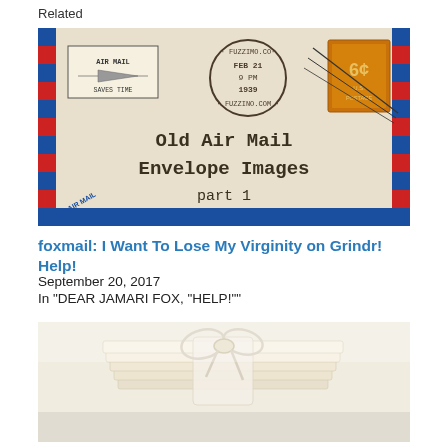Related
[Figure (photo): Old Air Mail Envelope image with airmail stamps, postmarks reading FUZZIMO.COM FEB 21 1939, red and blue striped border, typewriter text reading 'Old Air Mail Envelope Images part 1']
foxmail: I Want To Lose My Virginity on Grindr! Help!
September 20, 2017
In "DEAR JAMARI FOX, "HELP!""
[Figure (photo): A bundle of old letters or envelopes tied together with a cream/white ribbon or twine, soft focus background]